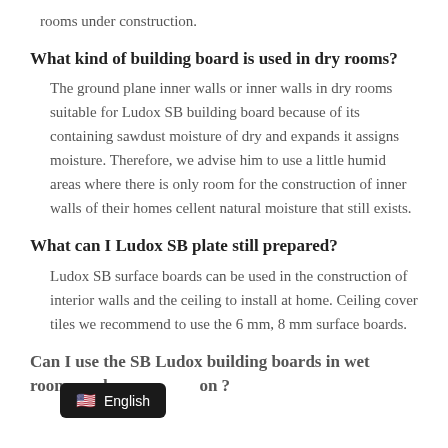rooms under construction.
What kind of building board is used in dry rooms?
The ground plane inner walls or inner walls in dry rooms suitable for Ludox SB building board because of its containing sawdust moisture of dry and expands it assigns moisture. Therefore, we advise him to use a little humid areas where there is only room for the construction of inner walls of their homes cellent natural moisture that still exists.
What can I Ludox SB plate still prepared?
Ludox SB surface boards can be used in the construction of interior walls and the ceiling to install at home. Ceiling cover tiles we recommend to use the 6 mm, 8 mm surface boards.
Can I use the SB Ludox building boards in wet rooms under construction ?